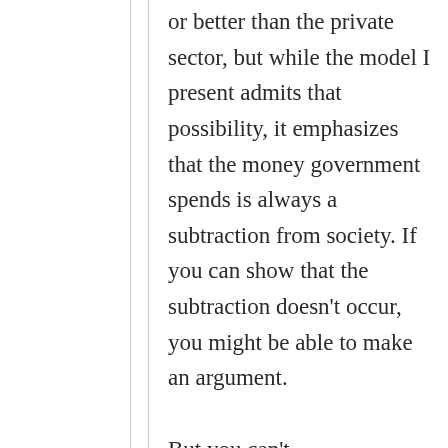or better than the private sector, but while the model I present admits that possibility, it emphasizes that the money government spends is always a subtraction from society. If you can show that the subtraction doesn't occur, you might be able to make an argument.

But you can't.
Like